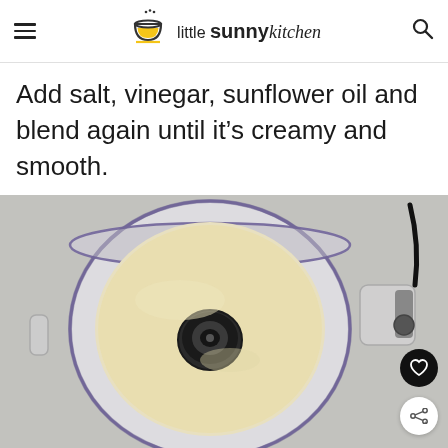little sunny kitchen
Add salt, vinegar, sunflower oil and blend again until it's creamy and smooth.
[Figure (photo): Top-down view of a blender jar containing smooth creamy white/pale yellow tahini sauce with a black center blade visible, blender body and cord visible on right side, on a light gray background.]
[Figure (screenshot): Advertisement banner at bottom: 'Or new passion projects.' with Lenovo branding and Lenovo.com URL, alongside phone/tablet images.]